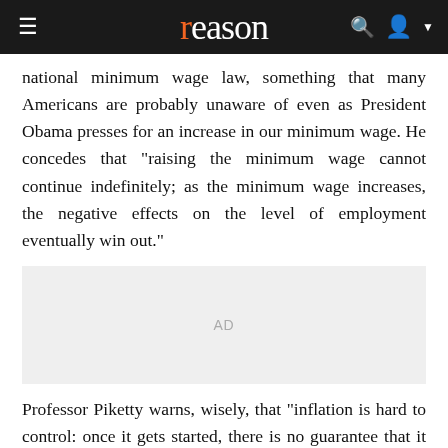reason
national minimum wage law, something that many Americans are probably unaware of even as President Obama presses for an increase in our minimum wage. He concedes that "raising the minimum wage cannot continue indefinitely; as the minimum wage increases, the negative effects on the level of employment eventually win out."
[Figure (other): Advertisement placeholder box with 'AD' label in gray]
Professor Piketty warns, wisely, that "inflation is hard to control: once it gets started, there is no guarantee that it can be stopped at 5 percent a year."
He concedes that "the tax and transfer systems" of modern governments "have a achieved a level of